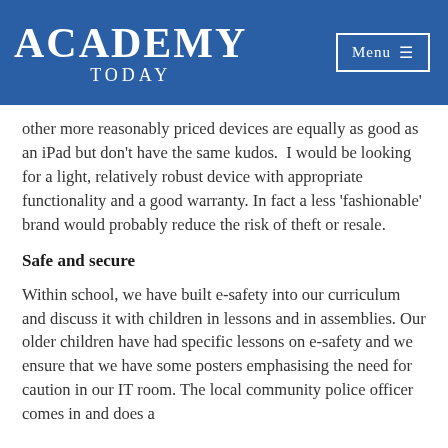Academy Today
other more reasonably priced devices are equally as good as an iPad but don't have the same kudos.  I would be looking for a light, relatively robust device with appropriate functionality and a good warranty. In fact a less 'fashionable' brand would probably reduce the risk of theft or resale.
Safe and secure
Within school, we have built e-safety into our curriculum and discuss it with children in lessons and in assemblies. Our older children have had specific lessons on e-safety and we ensure that we have some posters emphasising the need for caution in our IT room. The local community police officer comes in and does a